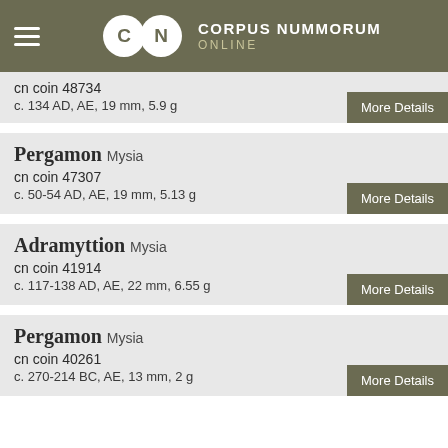CORPUS NUMMORUM ONLINE
cn coin 48734
c. 134 AD, AE, 19 mm, 5.9 g
Pergamon Mysia
cn coin 47307
c. 50-54 AD, AE, 19 mm, 5.13 g
Adramyttion Mysia
cn coin 41914
c. 117-138 AD, AE, 22 mm, 6.55 g
Pergamon Mysia
cn coin 40261
c. 270-214 BC, AE, 13 mm, 2 g